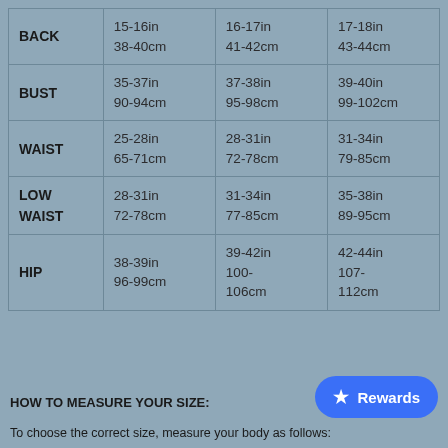|  | Col1 | Col2 | Col3 |
| --- | --- | --- | --- |
| BACK | 15-16in
38-40cm | 16-17in
41-42cm | 17-18in
43-44cm |
| BUST | 35-37in
90-94cm | 37-38in
95-98cm | 39-40in
99-102cm |
| WAIST | 25-28in
65-71cm | 28-31in
72-78cm | 31-34in
79-85cm |
| LOW WAIST | 28-31in
72-78cm | 31-34in
77-85cm | 35-38in
89-95cm |
| HIP | 38-39in
96-99cm | 39-42in
100-106cm | 42-44in
107-112cm |
HOW TO MEASURE YOUR SIZE:
Rewards
To choose the correct size, measure your body as follows: